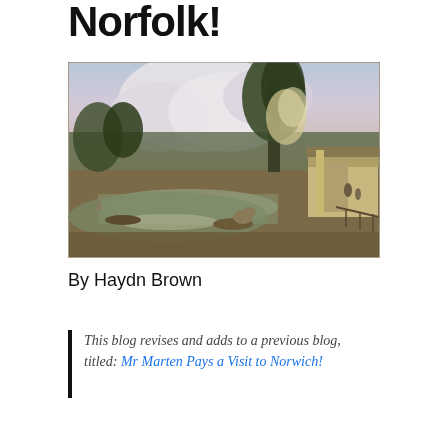Norfolk!
[Figure (illustration): A classical landscape painting showing a river scene with trees, a building structure on the right, boats on the water, and a cloudy sky. The painting is in muted earth tones and appears to be from the Norwich School of painters.]
By Haydn Brown
This blog revises and adds to a previous blog, titled: Mr Marten Pays a Visit to Norwich!